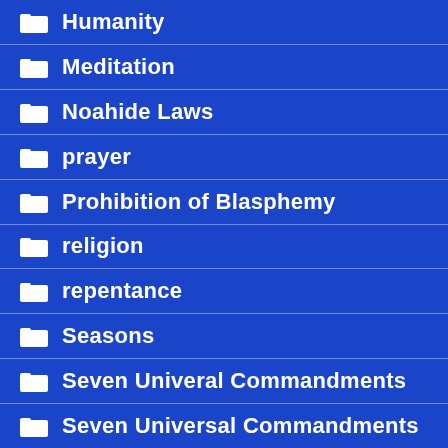Humanity
Meditation
Noahide Laws
prayer
Prohibition of Blasphemy
religion
repentance
Seasons
Seven Univeral Commandments
Seven Universal Commandments